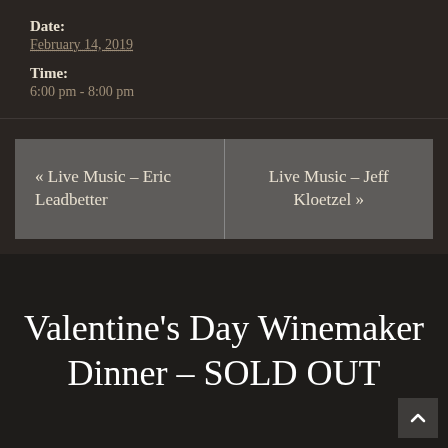Date:
February 14, 2019
Time:
6:00 pm - 8:00 pm
« Live Music – Eric Leadbetter
Live Music – Jeff Kloetzel »
Valentine's Day Winemaker Dinner – SOLD OUT